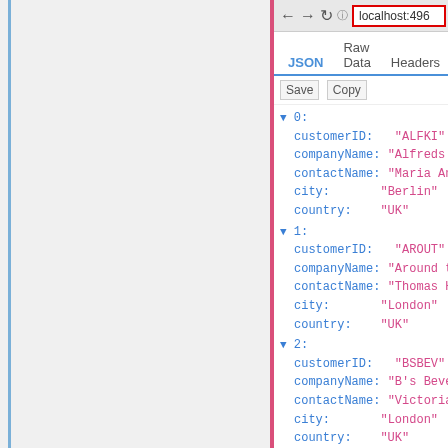[Figure (screenshot): Browser screenshot showing a JSON viewer displaying customer data with fields customerID, companyName, contactName, city, and country for three records (ALFKI, AROUT, BSBEV). The left portion shows a blank panel with a blue vertical accent line. The right portion shows the browser with address bar showing localhost:496... and JSON/Raw Data/Headers tabs.]